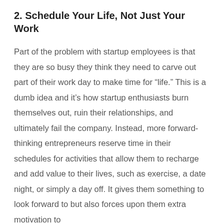2. Schedule Your Life, Not Just Your Work
Part of the problem with startup employees is that they are so busy they think they need to carve out part of their work day to make time for “life.” This is a dumb idea and it’s how startup enthusiasts burn themselves out, ruin their relationships, and ultimately fail the company. Instead, more forward-thinking entrepreneurs reserve time in their schedules for activities that allow them to recharge and add value to their lives, such as exercise, a date night, or simply a day off. It gives them something to look forward to but also forces upon them extra motivation to